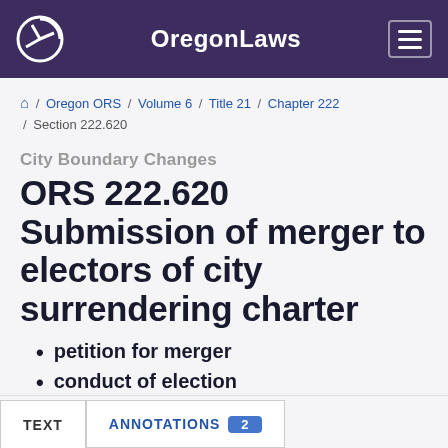OregonLaws
Home / Oregon ORS / Volume 6 / Title 21 / Chapter 222 / Section 222.620
City Boundary Changes
ORS 222.620 Submission of merger to electors of city surrendering charter
petition for merger
conduct of election
TEXT   ANNOTATIONS 2